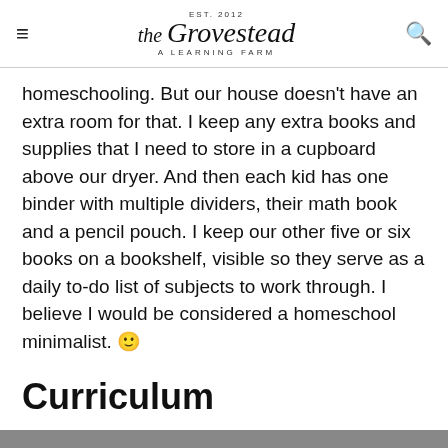the Grovestead — A Learning Farm (EST. 2012)
homeschooling. But our house doesn't have an extra room for that. I keep any extra books and supplies that I need to store in a cupboard above our dryer. And then each kid has one binder with multiple dividers, their math book and a pencil pouch. I keep our other five or six books on a bookshelf, visible so they serve as a daily to-do list of subjects to work through. I believe I would be considered a homeschool minimalist. 🙂
Curriculum